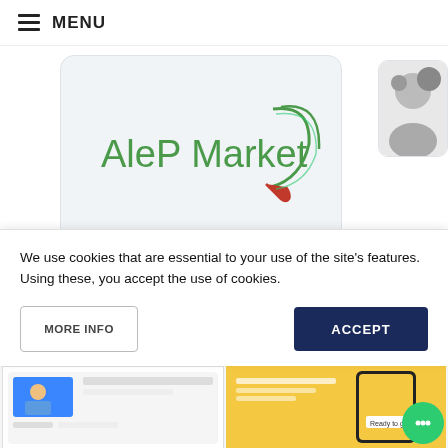MENU
[Figure (logo): AleP Market logo with green leaf and red cursive accent on light grey rounded card]
[Figure (illustration): Partial avatar/profile illustration on right side top]
[Figure (logo): Android robot (Google Play) icon in white rounded card on right]
[Figure (logo): Apple logo icon in white rounded card on right]
View All
We use cookies that are essential to your use of the site's features. Using these, you accept the use of cookies.
MORE INFO
ACCEPT
[Figure (screenshot): Bottom strip showing two partial website thumbnails]
[Figure (illustration): Green chat/support bubble icon bottom right]